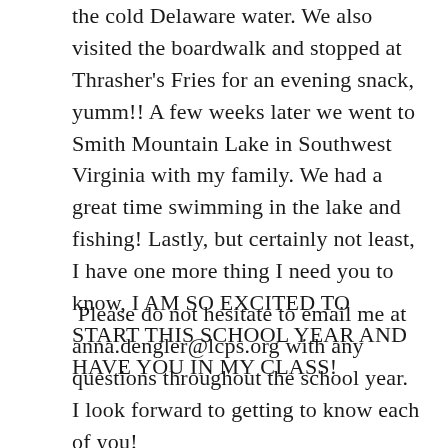the cold Delaware water.  We also visited the boardwalk and stopped at Thrasher's Fries for an evening snack, yumm!!  A few weeks later we went to Smith Mountain Lake in Southwest Virginia with my family.  We had a great time swimming in the lake and fishing!  Lastly, but certainly not least, I have one more thing I need you to know, I AM SO EXCITED TO START THIS SCHOOL YEAR AND HAVE YOU IN MY CLASS!
Please do not hesitate to email me at anna.dengler@lcps.org with any questions throughout the school year.  I look forward to getting to know each of you!